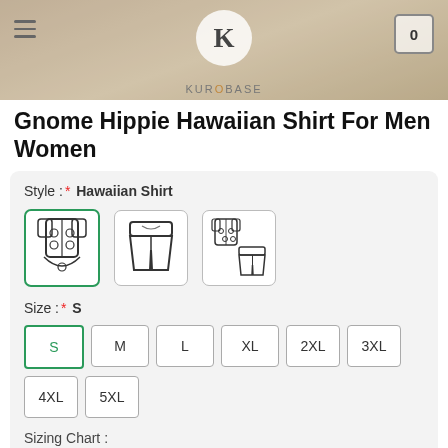[Figure (screenshot): Kurobase website header with logo, hamburger menu, and shopping cart icon showing 0]
Gnome Hippie Hawaiian Shirt For Men Women
Style :* Hawaiian Shirt
[Figure (illustration): Three style option icons: Hawaiian Shirt (selected, green border), Shorts, and Shirt+Shorts combo]
Size :* S
S  M  L  XL  2XL  3XL  4XL  5XL
Sizing Chart :
[Figure (other): Magnify/zoom icon button (dark rounded square with magnifying glass)]
Total:  $39.95